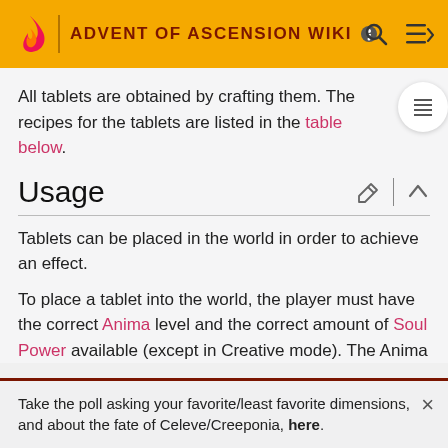ADVENT OF ASCENSION WIKI
All tablets are obtained by crafting them. The recipes for the tablets are listed in the table below.
Usage
Tablets can be placed in the world in order to achieve an effect.
To place a tablet into the world, the player must have the correct Anima level and the correct amount of Soul Power available (except in Creative mode). The Anima
Take the poll asking your favorite/least favorite dimensions, and about the fate of Celeve/Creeponia, here.